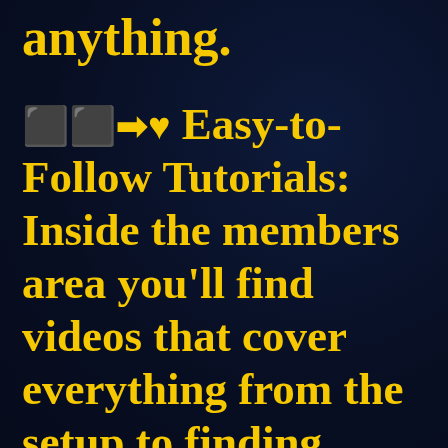anything.
🔲🔲➡♥ Easy-to-Follow Tutorials: Inside the members area you'll find videos that cover everything from the setup to finding products and the best Clickbank niches.